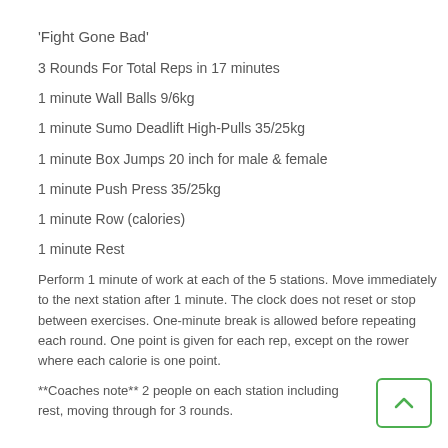'Fight Gone Bad'
3 Rounds For Total Reps in 17 minutes
1 minute Wall Balls 9/6kg
1 minute Sumo Deadlift High-Pulls 35/25kg
1 minute Box Jumps 20 inch for male & female
1 minute Push Press 35/25kg
1 minute Row (calories)
1 minute Rest
Perform 1 minute of work at each of the 5 stations. Move immediately to the next station after 1 minute. The clock does not reset or stop between exercises. One-minute break is allowed before repeating each round. One point is given for each rep, except on the rower where each calorie is one point.
**Coaches note** 2 people on each station including rest, moving through for 3 rounds.